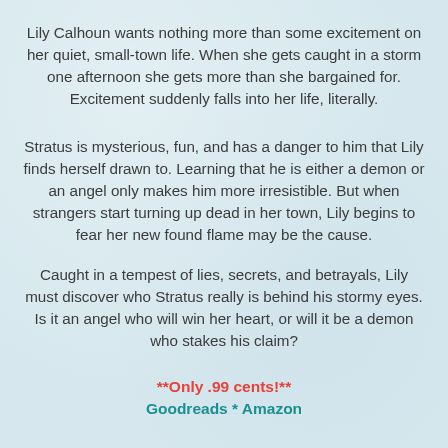Lily Calhoun wants nothing more than some excitement on her quiet, small-town life. When she gets caught in a storm one afternoon she gets more than she bargained for. Excitement suddenly falls into her life, literally.
Stratus is mysterious, fun, and has a danger to him that Lily finds herself drawn to. Learning that he is either a demon or an angel only makes him more irresistible. But when strangers start turning up dead in her town, Lily begins to fear her new found flame may be the cause.
Caught in a tempest of lies, secrets, and betrayals, Lily must discover who Stratus really is behind his stormy eyes. Is it an angel who will win her heart, or will it be a demon who stakes his claim?
**Only .99 cents!**
Goodreads * Amazon